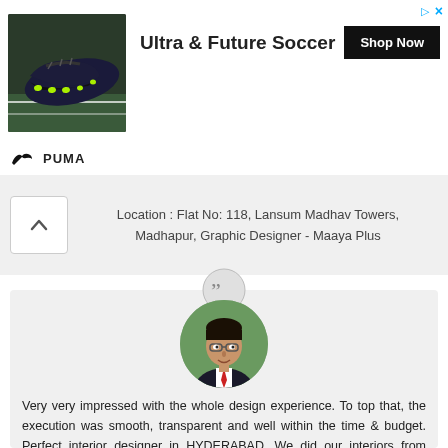[Figure (infographic): Puma advertisement banner showing soccer shoes on grass background with 'Ultra & Future Soccer' text, Shop Now button, and Puma logo at bottom left]
Location : Flat No: 118, Lansum Madhav Towers, Madhapur, Graphic Designer - Maaya Plus
[Figure (photo): Circular quotation mark icon in gray circle followed by circular portrait photo of a man wearing glasses and a suit with red tie]
Very very impressed with the whole design experience. To top that, the execution was smooth, transparent and well within the time & budget. Perfect interior designer in HYDERABAD. We did our interiors from Creative Interiors and it is the best service provider. I recommend My Vision Interiors.